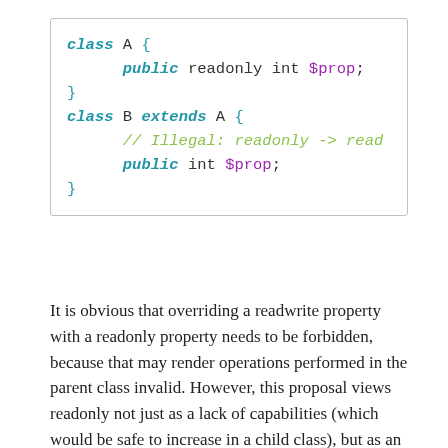[Figure (screenshot): Code block showing class A with public readonly int $prop, and class B extends A with a comment '// Illegal: readonly -> read...' and public int $prop redeclared.]
It is obvious that overriding a readwrite property with a readonly property needs to be forbidden, because that may render operations performed in the parent class invalid. However, this proposal views readonly not just as a lack of capabilities (which would be safe to increase in a child class), but as an intentional restriction. Lifting the restriction in the child class could break invariants in the parent class. As such, a